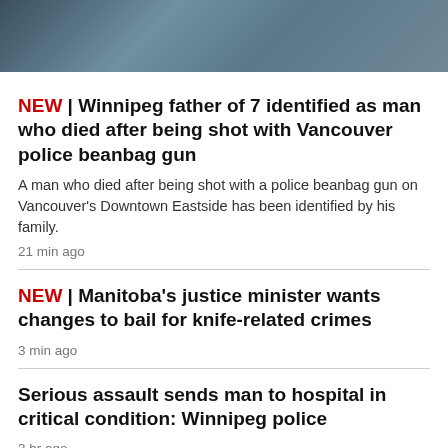[Figure (photo): Cropped photo of a person, partially visible at top of page]
NEW | Winnipeg father of 7 identified as man who died after being shot with Vancouver police beanbag gun
A man who died after being shot with a police beanbag gun on Vancouver's Downtown Eastside has been identified by his family.
21 min ago
NEW | Manitoba's justice minister wants changes to bail for knife-related crimes
3 min ago
Serious assault sends man to hospital in critical condition: Winnipeg police
3 hr ago